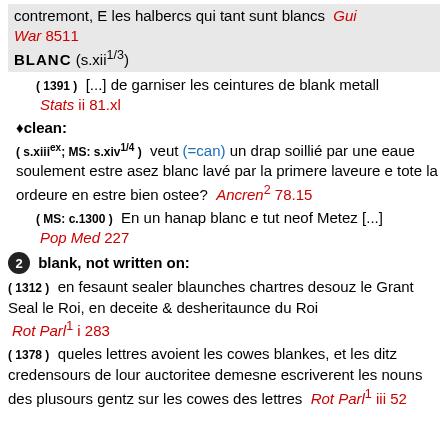contremont, E les halbercs qui tant sunt blancs  Gui War 8511
BLANC (s.xii^(1/3))
( 1391 )  [...] de garniser les ceintures de blank metall  Stats ii 81.xl
♦clean:
( s.xiii^ex; MS: s.xiv^(1/4) )  veut (=can) un drap soillié par une eaue soulement estre asez blanc lavé par la primere laveure e tote la ordeure en estre bien ostee?  Ancren² 78.15
( MS: c.1300 )  En un hanap blanc e tut neof Metez [...]  Pop Med 227
2  blank, not written on:
( 1312 )  en fesaunt sealer blaunches chartres desouz le Grant Seal le Roi, en deceite & desheritaunce du Roi  Rot Parl¹ i 283
( 1378 )  queles lettres avoient les cowes blankes, et les ditz credensours de lour auctoritee demesne escriverent les nouns des plusours gentz sur les cowes des lettres  Rot Parl¹ iii 52